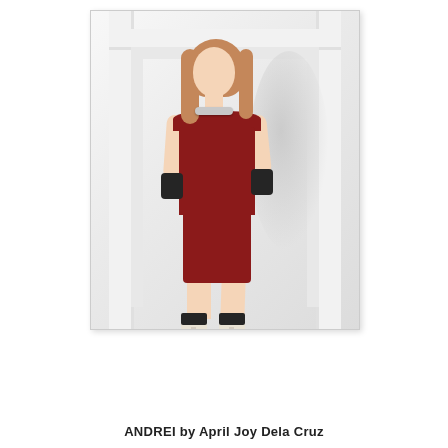[Figure (photo): Fashion photograph of a female model wearing a dark red (crimson) sleeveless mini dress with a metallic choker, black leather gloves, black-cuffed cream ankle boots. She stands in a white room with an architectural door frame surround, leaning slightly against the wall. A soft shadow is cast behind her on the white wall.]
ANDREI by April Joy Dela Cruz